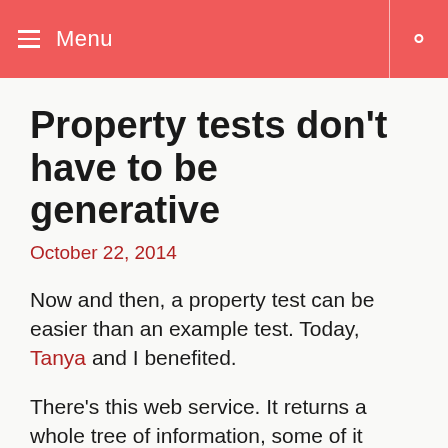≡ Menu
Property tests don't have to be generative
October 22, 2014
Now and then, a property test can be easier than an example test. Today, Tanya and I benefited.
There's this web service. It returns a whole tree of information, some of it useful and some of it is not.